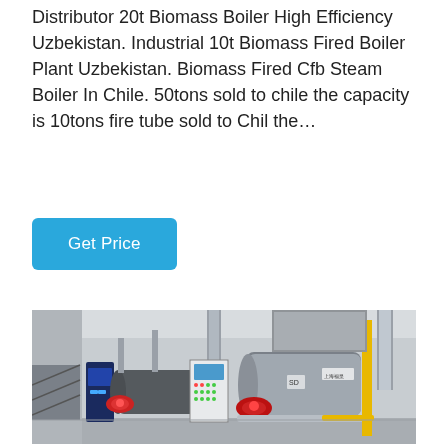Distributor 20t Biomass Boiler High Efficiency Uzbekistan. Industrial 10t Biomass Fired Boiler Plant Uzbekistan. Biomass Fired Cfb Steam Boiler In Chile. 50tons sold to chile the capacity is 10tons fire tube sold to Chil the…
[Figure (other): Button labeled 'Get Price' with cyan/blue background and white text]
[Figure (photo): Industrial biomass boiler plant interior showing multiple boiler units with red burners, a control panel, yellow gas pipes, and ductwork in an industrial facility]